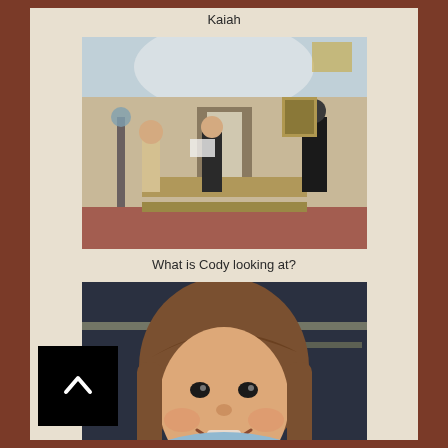Kaiah
[Figure (photo): People inside a church/chapel space, including children and adults, one person appears to be reading from a paper]
What is Cody looking at?
[Figure (photo): Close-up photo of a young girl with brown hair smiling at the camera, wearing a light blue turtleneck]
Sasha
[Figure (photo): Photo of a baby looking upward, wearing a patterned outfit, seated in red chairs]